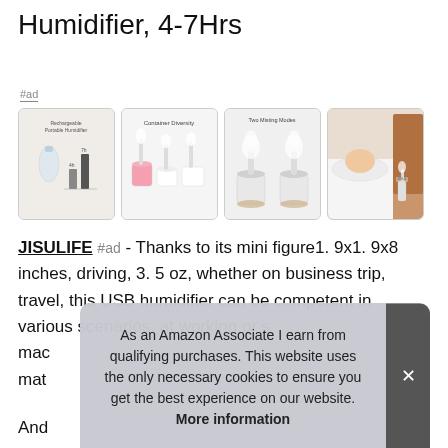Humidifier, 4-7Hrs
#ad
[Figure (photo): Four product images of a portable USB humidifier showing: (1) Rechargeable portable humidifier with battery life chart showing 4h and 7h; (2) Container Diversity – multiple cups/containers; (3) Two Misting Modes – double humidifier setup; (4) Lifestyle photo of person in bed with humidifier on nightstand.]
JISULIFE #ad - Thanks to its mini figure1. 9x1. 9x8 inches, driving, 3. 5 oz, whether on business trip, travel, this USB humidifier can be competent in various scenarios, at working or s[tructures] mac[hine] mat[erial]
And
As an Amazon Associate I earn from qualifying purchases. This website uses the only necessary cookies to ensure you get the best experience on our website. More information